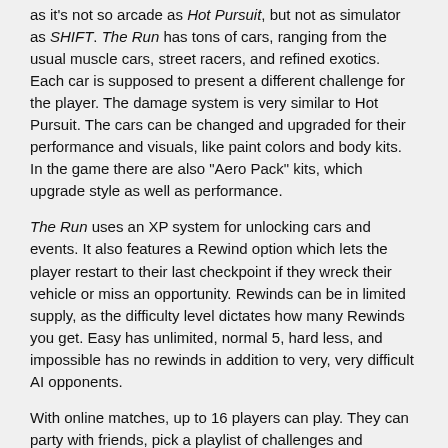as it's not so arcade as Hot Pursuit, but not as simulator as SHIFT. The Run has tons of cars, ranging from the usual muscle cars, street racers, and refined exotics. Each car is supposed to present a different challenge for the player. The damage system is very similar to Hot Pursuit. The cars can be changed and upgraded for their performance and visuals, like paint colors and body kits. In the game there are also "Aero Pack" kits, which upgrade style as well as performance.
The Run uses an XP system for unlocking cars and events. It also features a Rewind option which lets the player restart to their last checkpoint if they wreck their vehicle or miss an opportunity. Rewinds can be in limited supply, as the difficulty level dictates how many Rewinds you get. Easy has unlimited, normal 5, hard less, and impossible has no rewinds in addition to very, very difficult AI opponents.
With online matches, up to 16 players can play. They can party with friends, pick a playlist of challenges and complete on every stage of the game. Also, players don't have to wait in lobbies, even if the game they are wishing to join is in progress. There are different playlists, such as Supercar Challenge, NFS Edition Racing, The Underground, Mixed Competition, Exotic Sprint, and Muscle Car Battles. Most of the modes focus on different car varieties. Players can also use the reward system "The Bonus Wheel", which randomly selects a reward and the criteria to get it.
[edit description | view history]